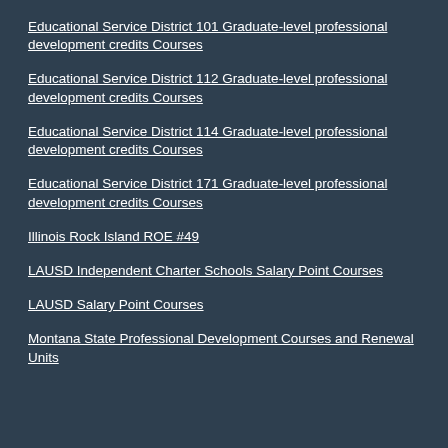Educational Service District 101 Graduate-level professional development credits Courses
Educational Service District 112 Graduate-level professional development credits Courses
Educational Service District 114 Graduate-level professional development credits Courses
Educational Service District 171 Graduate-level professional development credits Courses
Illinois Rock Island ROE #49
LAUSD Independent Charter Schools Salary Point Courses
LAUSD Salary Point Courses
Montana State Professional Development Courses and Renewal Units